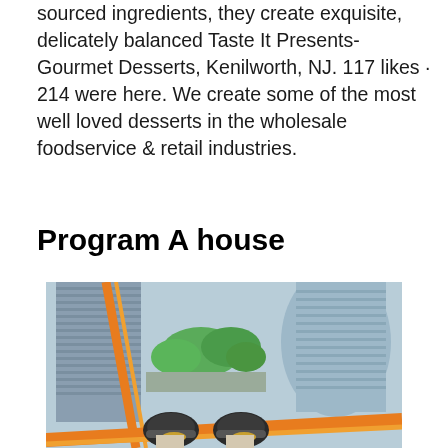sourced ingredients, they create exquisite, delicately balanced Taste It Presents- Gourmet Desserts, Kenilworth, NJ. 117 likes · 214 were here. We create some of the most well loved desserts in the wholesale foodservice & retail industries.
Program A house
[Figure (photo): Aerial/rooftop perspective photo looking down at city skyscrapers and streets, with a person's feet in sneakers visible in the foreground dangling over the edge of a building. Green trees and urban buildings visible below.]